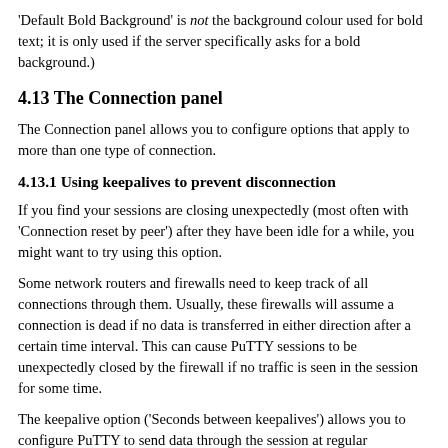'Default Bold Background' is not the background colour used for bold text; it is only used if the server specifically asks for a bold background.)
4.13 The Connection panel
The Connection panel allows you to configure options that apply to more than one type of connection.
4.13.1 Using keepalives to prevent disconnection
If you find your sessions are closing unexpectedly (most often with 'Connection reset by peer') after they have been idle for a while, you might want to try using this option.
Some network routers and firewalls need to keep track of all connections through them. Usually, these firewalls will assume a connection is dead if no data is transferred in either direction after a certain time interval. This can cause PuTTY sessions to be unexpectedly closed by the firewall if no traffic is seen in the session for some time.
The keepalive option ('Seconds between keepalives') allows you to configure PuTTY to send data through the session at regular